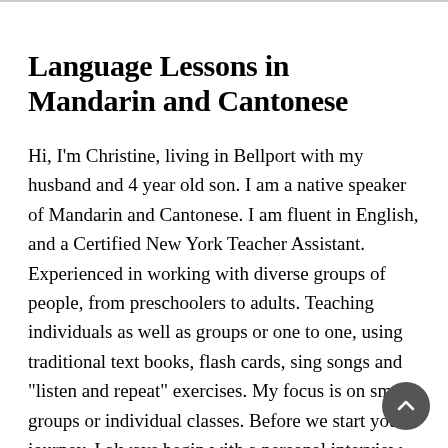Language Lessons in Mandarin and Cantonese
Hi, I'm Christine, living in Bellport with my husband and 4 year old son. I am a native speaker of Mandarin and Cantonese. I am fluent in English, and a Certified New York Teacher Assistant. Experienced in working with diverse groups of people, from preschoolers to adults. Teaching individuals as well as groups or one to one, using traditional text books, flash cards, sing songs and "listen and repeat" exercises. My focus is on small groups or individual classes. Before we start your journey, I always begin with a personal interview with each student, to determine the skill